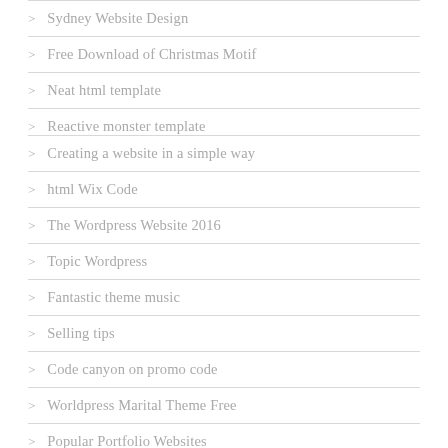> Sydney Website Design
> Free Download of Christmas Motif
> Neat html template
> Reactive monster template
> Creating a website in a simple way
> html Wix Code
> The Wordpress Website 2016
> Topic Wordpress
> Fantastic theme music
> Selling tips
> Code canyon on promo code
> Worldpress Marital Theme Free
> Popular Portfolio Websites
> Quick design of the theme
> Photo-album Minimalist